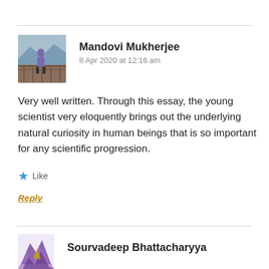[Figure (photo): Avatar photo of Mandovi Mukherjee standing on a bridge/walkway with mountains in background]
Mandovi Mukherjee
8 Apr 2020 at 12:16 am
Very well written. Through this essay, the young scientist very eloquently brings out the underlying natural curiosity in human beings that is so important for any scientific progression.
★ Like
Reply
[Figure (illustration): Purple abstract avatar/logo for Sourvadeep Bhattacharyya]
Sourvadeep Bhattacharyya